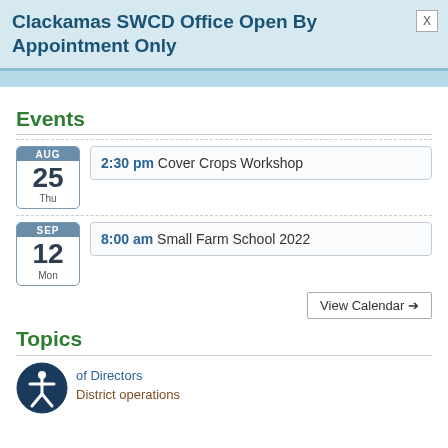Clackamas SWCD Office Open By Appointment Only
Events
2:30 pm Cover Crops Workshop — AUG 25 Thu
8:00 am Small Farm School 2022 — SEP 12 Mon
View Calendar →
Topics
Board of Directors
District operations